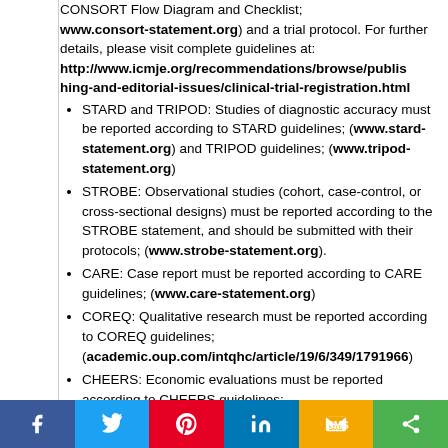CONSORT Flow Diagram and Checklist; www.consort-statement.org) and a trial protocol. For further details, please visit complete guidelines at: http://www.icmje.org/recommendations/browse/publishing-and-editorial-issues/clinical-trial-registration.html
STARD and TRIPOD: Studies of diagnostic accuracy must be reported according to STARD guidelines; (www.stard-statement.org) and TRIPOD guidelines; (www.tripod-statement.org)
STROBE: Observational studies (cohort, case-control, or cross-sectional designs) must be reported according to the STROBE statement, and should be submitted with their protocols; (www.strobe-statement.org).
CARE: Case report must be reported according to CARE guidelines; (www.care-statement.org)
COREQ: Qualitative research must be reported according to COREQ guidelines; (academic.oup.com/intqhc/article/19/6/349/1791966)
CHEERS: Economic evaluations must be reported according to CHEERS guidelines; (www.bmj.com/content/346/bmj.f1049)
STREGA: Genetic association studies must be reported according to STREGA guidelines;